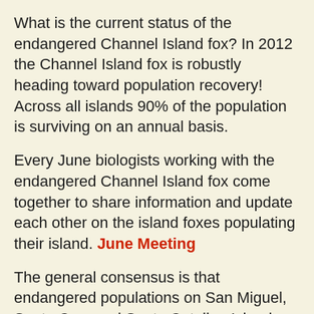What is the current status of the endangered Channel Island fox? In 2012 the Channel Island fox is robustly heading toward population recovery! Across all islands 90% of the population is surviving on an annual basis.
Every June biologists working with the endangered Channel Island fox come together to share information and update each other on the island foxes populating their island. June Meeting
The general consensus is that endangered populations on San Miguel, Santa Cruz and Santa Catalina Islands are all headed toward or reaching levels of recovery. (Habitat) The Santa Rosa Island fox is now increasing in number, but still is at a much lower population number than before the predation crisis caused by golden eagles and habitat destruction.